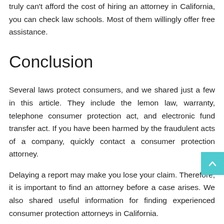truly can't afford the cost of hiring an attorney in California, you can check law schools. Most of them willingly offer free assistance.
Conclusion
Several laws protect consumers, and we shared just a few in this article. They include the lemon law, warranty, telephone consumer protection act, and electronic fund transfer act. If you have been harmed by the fraudulent acts of a company, quickly contact a consumer protection attorney.
Delaying a report may make you lose your claim. Therefore, it is important to find an attorney before a case arises. We also shared useful information for finding experienced consumer protection attorneys in California.
T. N... (signature)